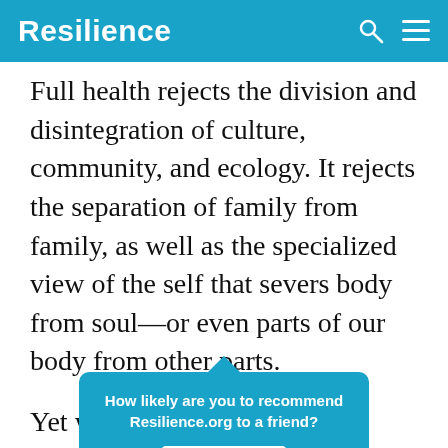Resilience
Full health rejects the division and disintegration of culture, community, and ecology. It rejects the separation of family from family, as well as the specialized view of the self that severs body from soul—or even parts of our body from other parts.
Yet we often like to see the various parts of our wo... es, nuclea... es, office... ng
How likely are you to recommend Resilience.org to a friend? Reply